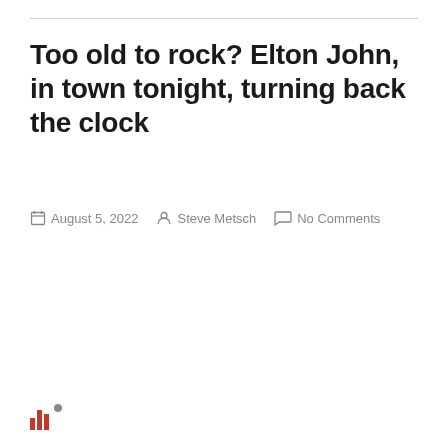Too old to rock? Elton John, in town tonight, turning back the clock
August 5, 2022   Steve Metsch   No Comments